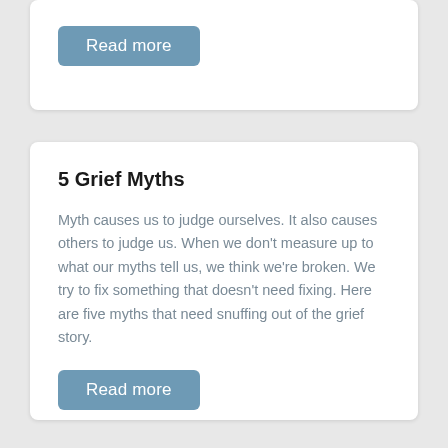Read more
5 Grief Myths
Myth causes us to judge ourselves. It also causes others to judge us. When we don't measure up to what our myths tell us, we think we're broken. We try to fix something that doesn't need fixing. Here are five myths that need snuffing out of the grief story.
Read more